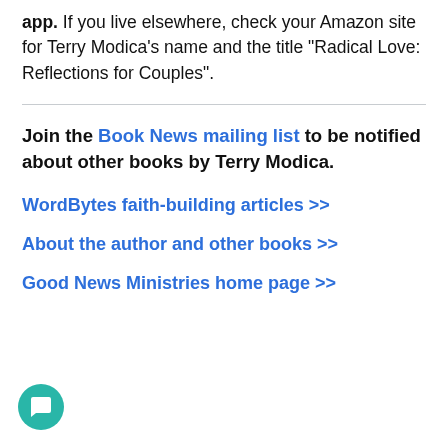app. If you live elsewhere, check your Amazon site for Terry Modica's name and the title “Radical Love: Reflections for Couples”.
Join the Book News mailing list to be notified about other books by Terry Modica.
WordBytes faith-building articles »»
About the author and other books »»
Good News Ministries home page »»